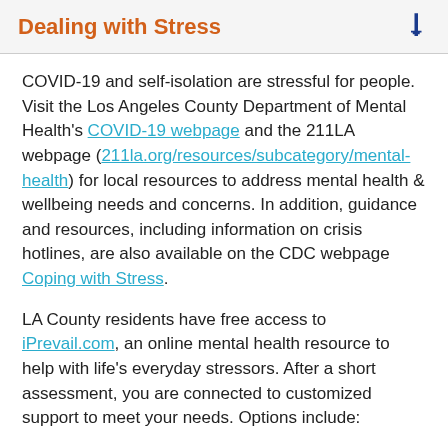Dealing with Stress
COVID-19 and self-isolation are stressful for people. Visit the Los Angeles County Department of Mental Health's COVID-19 webpage and the 211LA webpage (211la.org/resources/subcategory/mental-health) for local resources to address mental health & wellbeing needs and concerns. In addition, guidance and resources, including information on crisis hotlines, are also available on the CDC webpage Coping with Stress.
LA County residents have free access to iPrevail.com, an online mental health resource to help with life's everyday stressors. After a short assessment, you are connected to customized support to meet your needs. Options include:
on-demand chat with trained Peer Coaches,